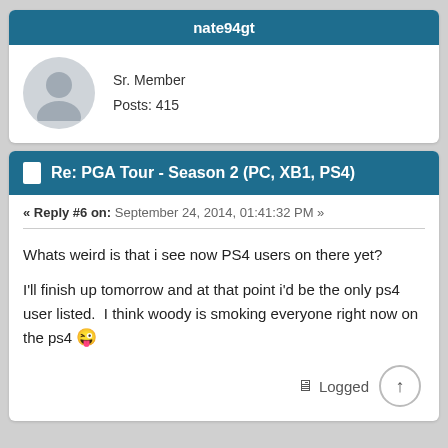nate94gt
Sr. Member
Posts: 415
Re: PGA Tour - Season 2 (PC, XB1, PS4)
« Reply #6 on: September 24, 2014, 01:41:32 PM »
Whats weird is that i see now PS4 users on there yet?

I'll finish up tomorrow and at that point i'd be the only ps4 user listed.  I think woody is smoking everyone right now on the ps4 😜
Logged